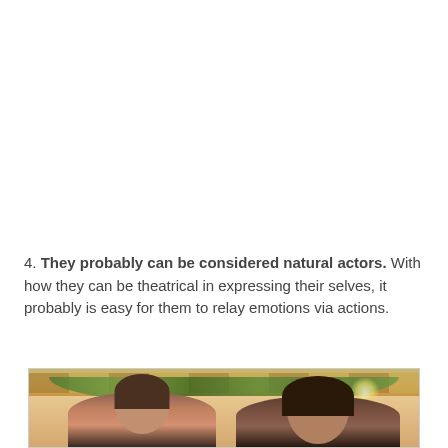4. They probably can be considered natural actors. With how they can be theatrical in expressing their selves, it probably is easy for them to relay emotions via actions.
[Figure (photo): Two people posing together in what appears to be a restaurant or decorated indoor venue with warm yellow/gold lighting, wooden ceiling beams, and green plant decorations.]